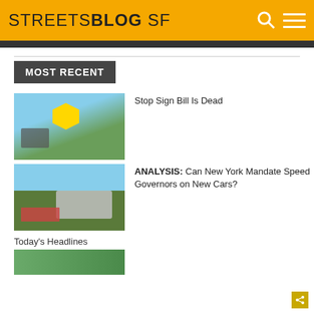STREETSBLOG SF
MOST RECENT
[Figure (photo): Person on bicycle at intersection with yield sign]
Stop Sign Bill Is Dead
[Figure (photo): Children sitting on grass near parked SUV on street]
ANALYSIS: Can New York Mandate Speed Governors on New Cars?
Today's Headlines
[Figure (photo): Partial thumbnail image at bottom of page]